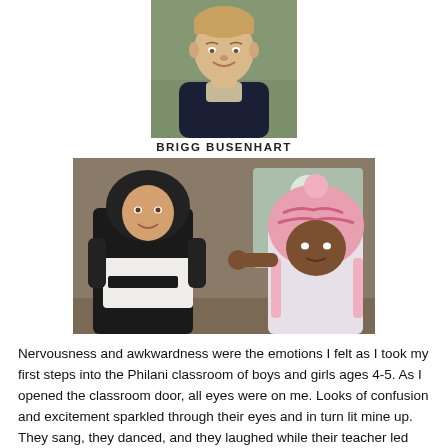[Figure (photo): Headshot portrait of a young man (Brigg Busenhart) smiling, wearing a dark jacket over a light shirt, outdoor blurred background.]
BRIGG BUSENHART
[Figure (photo): A person in a black hoodie and Billabong shirt interacting with a young child wearing a pink knit hat with decorative stitching, inside a classroom with colorful wall art of a horse visible in the background.]
Nervousness and awkwardness were the emotions I felt as I took my first steps into the Philani classroom of boys and girls ages 4-5. As I opened the classroom door, all eyes were on me. Looks of confusion and excitement sparkled through their eyes and in turn lit mine up. They sang, they danced, and they laughed while their teacher led them through their daily